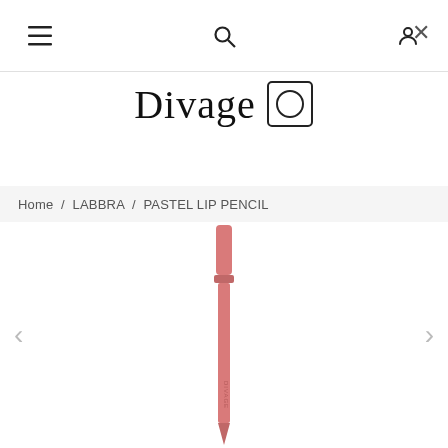≡  🔍  👤  ×
Divage
Home / LABBRA / PASTEL LIP PENCIL
[Figure (photo): A coral/pink pastel lip pencil shown vertically, with the tip visible at top and the body extending downward. The pencil has a cylindrical cap at top and the branded body below, in a muted rose/coral color. Navigation arrows (< >) appear on the left and right sides.]